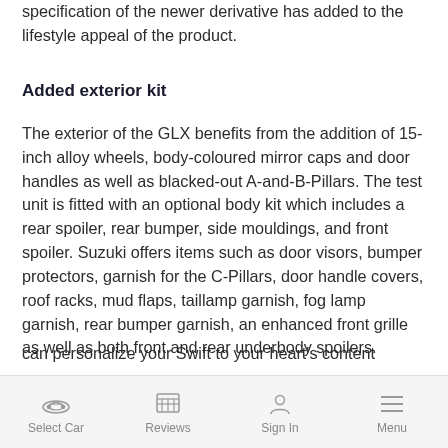specification of the newer derivative has added to the lifestyle appeal of the product.
Added exterior kit
The exterior of the GLX benefits from the addition of 15-inch alloy wheels, body-coloured mirror caps and door handles as well as blacked-out A-and-B-Pillars. The test unit is fitted with an optional body kit which includes a rear spoiler, rear bumper, side mouldings, and front spoiler. Suzuki offers items such as door visors, bumper protectors, garnish for the C-Pillars, door handle covers, roof racks, mud flaps, taillamp garnish, fog lamp garnish, rear bumper garnish, an enhanced front grille as well as both front and rear underbody spoilers.
Select Car | Reviews | Sign In | Menu
can personalize your Swift to your heart's content